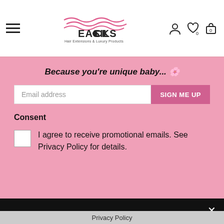[Figure (logo): Easilocks logo with pink wave lines above text, subtitle 'Hair Extensions & Luxury Products']
Because you're unique baby... 🌸
Email address
SIGN ME UP
Consent
I agree to receive promotional emails. See Privacy Policy for details.
This website uses cookies to ensure you get the best experience. Learn more
Decline
Accept
Privacy Policy